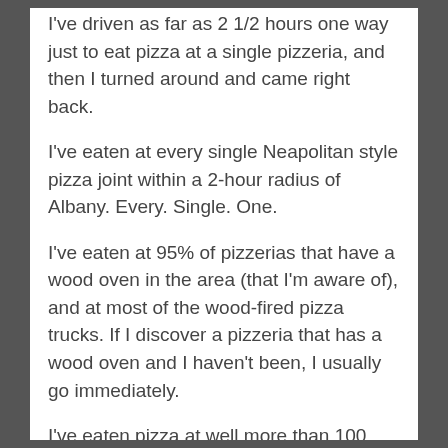I've driven as far as 2 1/2 hours one way just to eat pizza at a single pizzeria, and then I turned around and came right back.
I've eaten at every single Neapolitan style pizza joint within a 2-hour radius of Albany. Every. Single. One.
I've eaten at 95% of pizzerias that have a wood oven in the area (that I'm aware of), and at most of the wood-fired pizza trucks. If I discover a pizzeria that has a wood oven and I haven't been, I usually go immediately.
I've eaten pizza at well more than 100 local places and counting.